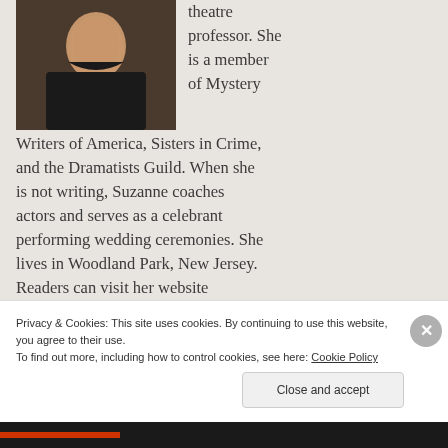[Figure (photo): Headshot photo of a woman in a dark top against a light background]
theatre professor. She is a member of Mystery Writers of America, Sisters in Crime, and the Dramatists Guild. When she is not writing, Suzanne coaches actors and serves as a celebrant performing wedding ceremonies. She lives in Woodland Park, New Jersey. Readers can visit her website
Privacy & Cookies: This site uses cookies. By continuing to use this website, you agree to their use.
To find out more, including how to control cookies, see here: Cookie Policy
Close and accept